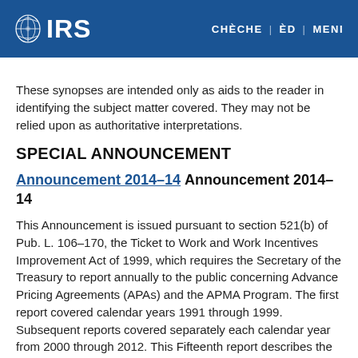IRS | CHÈCHE | ÈD | MENI
These synopses are intended only as aids to the reader in identifying the subject matter covered. They may not be relied upon as authoritative interpretations.
SPECIAL ANNOUNCEMENT
Announcement 2014–14 Announcement 2014–14
This Announcement is issued pursuant to section 521(b) of Pub. L. 106–170, the Ticket to Work and Work Incentives Improvement Act of 1999, which requires the Secretary of the Treasury to report annually to the public concerning Advance Pricing Agreements (APAs) and the APMA Program. The first report covered calendar years 1991 through 1999. Subsequent reports covered separately each calendar year from 2000 through 2012. This Fifteenth report describes the experience, structure, and activities of the APMA Program during calendar year